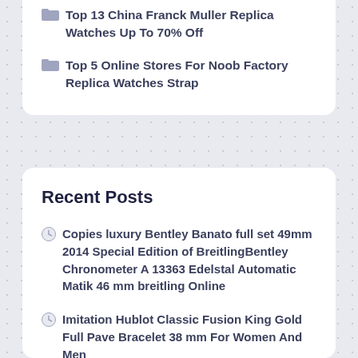Top 13 China Franck Muller Replica Watches Up To 70% Off
Top 5 Online Stores For Noob Factory Replica Watches Strap
Recent Posts
Copies luxury Bentley Banato full set 49mm 2014 Special Edition of BreitlingBentley Chronometer A 13363 Edelstal Automatic Matik 46 mm breitling Online
Imitation Hublot Classic Fusion King Gold Full Pave Bracelet 38 mm For Women And Men
Copy Breitling gene texture dials big gold cover retro Swiss made With 30% Discount